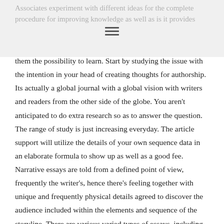Associates experiment with different ideas for the complete procedure for improving knowledge as well as is it provides
them the possibility to learn. Start by studying the issue with the intention in your head of creating thoughts for authorship. Its actually a global journal with a global vision with writers and readers from the other side of the globe. You aren't anticipated to do extra research so as to answer the question. The range of study is just increasing everyday. The article support will utilize the details of your own sequence data in an elaborate formula to show up as well as a good fee. Narrative essays are told from a defined point of view, frequently the writer's, hence there's feeling together with unique and frequently physical details agreed to discover the audience included within the elements and sequence of the storyline. There are various varied types of essays, including narrative. These ideas must be included in the finish of the post for a